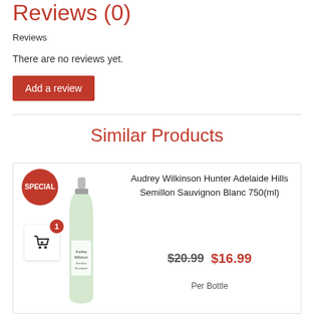Reviews (0)
Reviews
There are no reviews yet.
Add a review
Similar Products
[Figure (photo): Product card for Audrey Wilkinson Hunter Adelaide Hills Semillon Sauvignon Blanc 750ml with SPECIAL badge, cart icon, wine bottle image, crossed-out price $20.99 and sale price $16.99, Per Bottle label.]